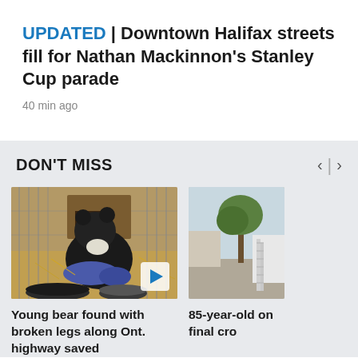UPDATED | Downtown Halifax streets fill for Nathan Mackinnon's Stanley Cup parade
40 min ago
DON'T MISS
[Figure (photo): Black bear sitting in hay inside a cage, with food bowls in foreground. Play button overlay visible.]
Young bear found with broken legs along Ont. highway saved
[Figure (photo): Partial view of a second news card showing an outdoor scene with a tree and what appears to be a vehicle.]
85-year-old on final cro